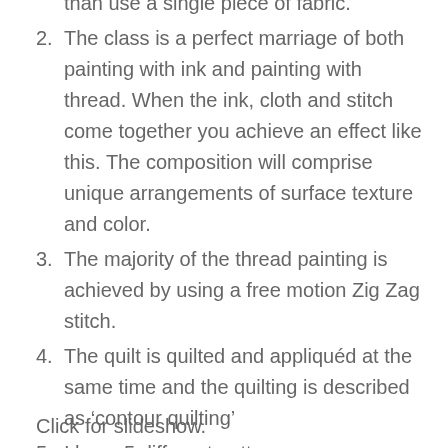than use a single piece of fabric.
2. The class is a perfect marriage of both painting with ink and painting with thread. When the ink, cloth and stitch come together you achieve an effect like this. The composition will comprise unique arrangements of surface texture and color.
3. The majority of the thread painting is achieved by using a free motion Zig Zag stitch.
4. The quilt is quilted and appliquéd at the same time and the quilting is described as ‘contour quilting’
5. I have 5 different patterns.
Click for slideshow.